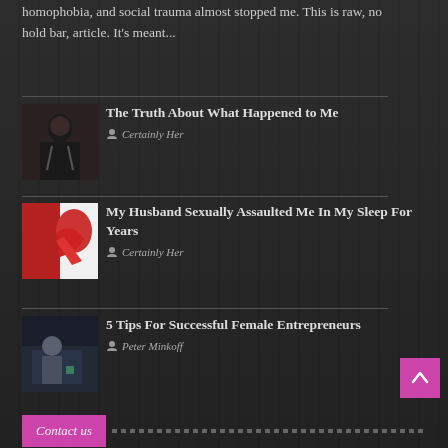homophobia, and social trauma almost stopped me. This is raw, no hold bar, article. It's meant...
[Figure (photo): Dark photo of a person with goth makeup making hand gestures]
The Truth About What Happened to Me
Certainly Her
[Figure (photo): Graphic of a red silhouette hand on white background]
My Husband Sexually Assaulted Me In My Sleep For Years
Certainly Her
[Figure (photo): Professional woman sitting at desk in office]
5 Tips For Successful Female Entrepreneurs
Peter Minkoff
Contact us